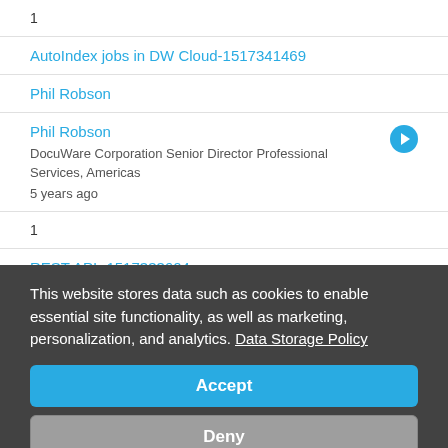1
AutoIndex jobs in DW Cloud-1517341469
Phil Robson
Phil Robson
DocuWare Corporation Senior Director Professional Services, Americas
5 years ago
1
REST API -1517333604
This website stores data such as cookies to enable essential site functionality, as well as marketing, personalization, and analytics. Data Storage Policy
Accept
Deny